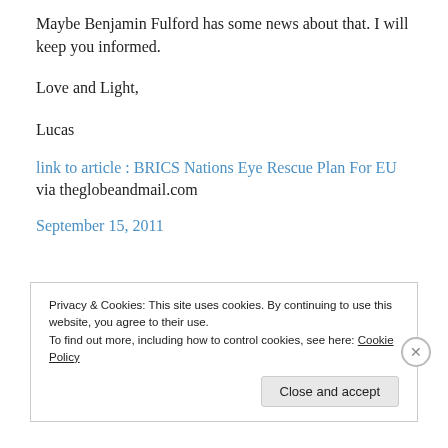Maybe Benjamin Fulford has some news about that. I will keep you informed.
Love and Light,
Lucas
link to article : BRICS Nations Eye Rescue Plan For EU
via theglobeandmail.com
September 15, 2011
Privacy & Cookies: This site uses cookies. By continuing to use this website, you agree to their use. To find out more, including how to control cookies, see here: Cookie Policy